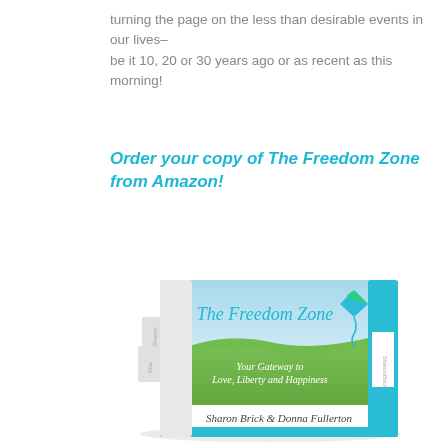turning the page on the less than desirable events in our lives–be it 10, 20 or 30 years ago or as recent as this morning!
Order your copy of The Freedom Zone from Amazon!
[Figure (photo): Book cover of 'The Freedom Zone: Your Gateway to Love, Liberty and Happiness' by Sharon Brick & Donna Fullerton, shown as a stacked set of books with a sky and green hills on the cover and a teal kite graphic.]